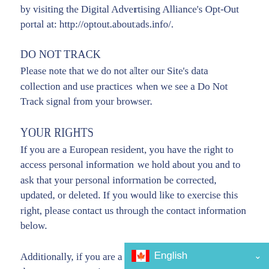by visiting the Digital Advertising Alliance's Opt-Out portal at: http://optout.aboutads.info/.
DO NOT TRACK
Please note that we do not alter our Site’s data collection and use practices when we see a Do Not Track signal from your browser.
YOUR RIGHTS
If you are a European resident, you have the right to access personal information we hold about you and to ask that your personal information be corrected, updated, or deleted. If you would like to exercise this right, please contact us through the contact information below.
Additionally, if you are a European resident we note that we are processing your inform
[Figure (other): Language selector overlay showing Canadian flag and 'English' label with dropdown arrow on a teal/cyan background]